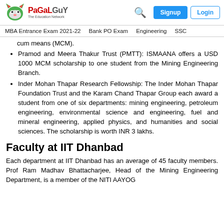PaGaLGuY – The Education Network | Signup | Login
MBA Entrance Exam 2021-22   Bank PO Exam   Engineering   SSC
cum means (MCM).
Pramod and Meera Thakur Trust (PMTT): ISMAANA offers a USD 1000 MCM scholarship to one student from the Mining Engineering Branch.
Inder Mohan Thapar Research Fellowship: The Inder Mohan Thapar Foundation Trust and the Karam Chand Thapar Group each award a student from one of six departments: mining engineering, petroleum engineering, environmental science and engineering, fuel and mineral engineering, applied physics, and humanities and social sciences. The scholarship is worth INR 3 lakhs.
Faculty at IIT Dhanbad
Each department at IIT Dhanbad has an average of 45 faculty members. Prof Ram Madhav Bhattacharjee, Head of the Mining Engineering Department, is a member of the NITI AAYOG